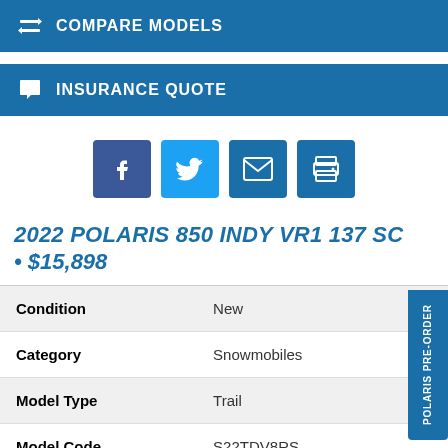COMPARE MODELS
INSURANCE QUOTE
[Figure (infographic): Social sharing icons: Facebook, Twitter, Email, Print]
2022 POLARIS 850 INDY VR1 137 SC
• $15,898
|  |  |
| --- | --- |
| Condition | New |
| Category | Snowmobiles |
| Model Type | Trail |
| Model Code | S22TDV8RS |